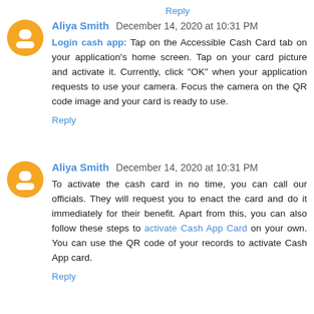Reply
Aliya Smith December 14, 2020 at 10:31 PM
Login cash app: Tap on the Accessible Cash Card tab on your application's home screen. Tap on your card picture and activate it. Currently, click "OK" when your application requests to use your camera. Focus the camera on the QR code image and your card is ready to use.
Reply
Aliya Smith December 14, 2020 at 10:31 PM
To activate the cash card in no time, you can call our officials. They will request you to enact the card and do it immediately for their benefit. Apart from this, you can also follow these steps to activate Cash App Card on your own. You can use the QR code of your records to activate Cash App card.
Reply